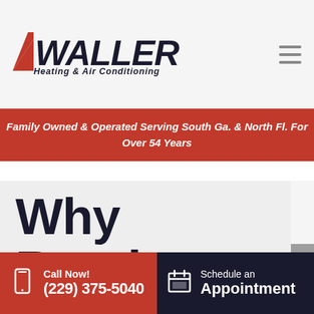[Figure (logo): Waller Heating & Air Conditioning logo with red diagonal slash and dark italic text]
Family Owned & Operated Serving South Ga. & North Fl. For Over 54 Years
Why Routine HVAC Maintenance is Important
Call Now! (229) 375-5040
Schedule an Appointment